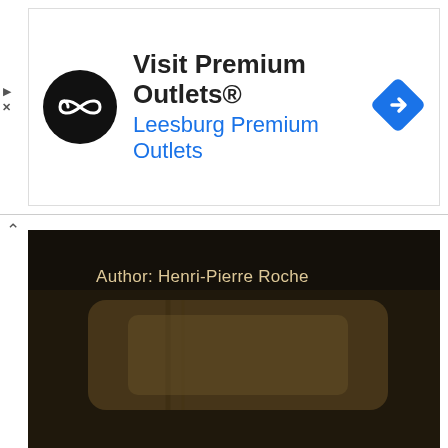[Figure (other): Advertisement banner for Visit Premium Outlets® – Leesburg Premium Outlets, with a circular black logo with infinity-like symbol and a blue diamond navigation arrow icon on the right.]
[Figure (photo): Dark photograph of what appears to be a rolled or wrapped book/scroll on a surface, with text overlay reading 'Author: Henri-Pierre Roche' and a small watermark in bottom right corner.]
Soon after they went back, Jules said to Jim: 'I love Magda. But it's a habit; it's not a great Love, not the real thing. To me, she's like a young mother and an attentive daughter, both at once.' 'But that's fine!' 'It's not the love I've always dreamed of having.' 'Does that kind of love exist?' said Jim. 'Of course! My love for Lucie.' Jim checked himself from saying, 'Because you do not possess her.' 'Besides,' Jules went on, 'knowing myself as I do, I shall never be able to forgive any